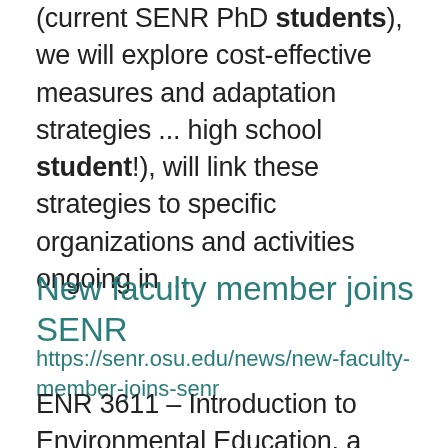(current SENR PhD students), we will explore cost-effective measures and adaptation strategies ... high school student!), will link these strategies to specific organizations and activities ongoing in ...
New faculty member joins SENR
https://senr.osu.edu/news/new-faculty-member-joins-senr
ENR 3611 – Introduction to Environmental Education, a foundational course that prepares students for ...   Faculty Faculty News ...